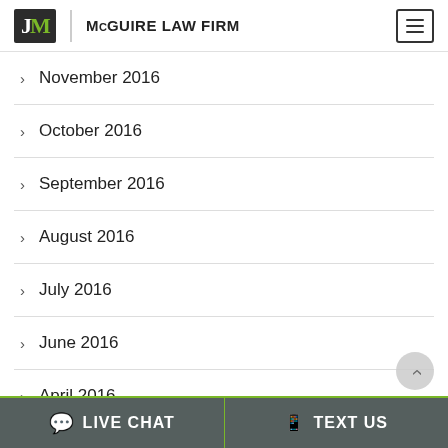McGuire Law Firm
November 2016
October 2016
September 2016
August 2016
July 2016
June 2016
April 2016
LIVE CHAT   TEXT US